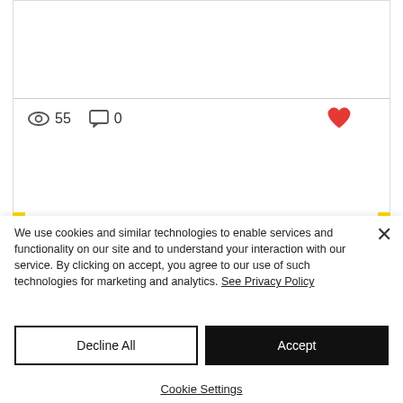[Figure (screenshot): Social media post card with a horizontal divider, view count (eye icon + 55), comment count (speech bubble icon + 0), and a red heart icon on the right.]
[Figure (photo): Exercise/fitness photo showing a person in a red shirt performing a Superman or back extension exercise on the floor, arms extended forward, with another person visible on the right side.]
We use cookies and similar technologies to enable services and functionality on our site and to understand your interaction with our service. By clicking on accept, you agree to our use of such technologies for marketing and analytics. See Privacy Policy
Decline All
Accept
Cookie Settings